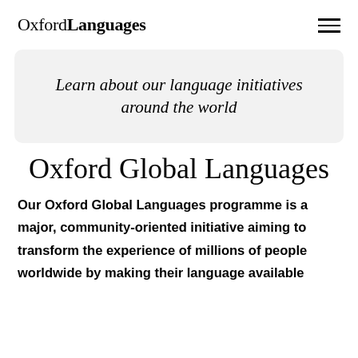Oxford Languages
Learn about our language initiatives around the world
Oxford Global Languages
Our Oxford Global Languages programme is a major, community-oriented initiative aiming to transform the experience of millions of people worldwide by making their language available